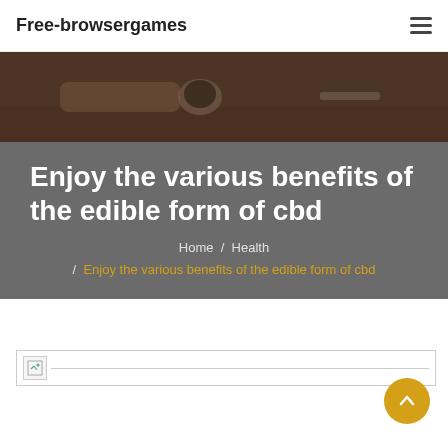Free-browsergames
[Figure (photo): Dark background hero image showing hands holding a coffee mug on a wooden desk with a notebook]
Enjoy the various benefits of the edible form of cbd
Home / Health / Enjoy the various benefits of the edible form of cbd
[Figure (photo): Broken image placeholder with a small icon and a horizontal line extending to the right]